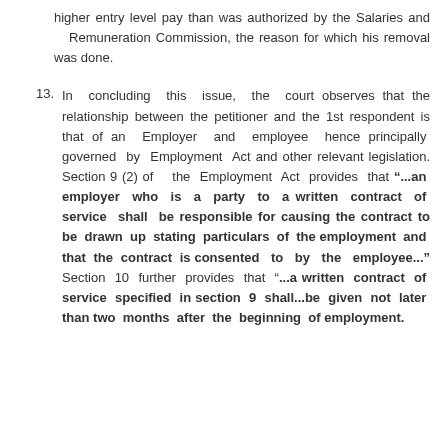higher entry level pay than was authorized by the Salaries and Remuneration Commission, the reason for which his removal was done.
13. In concluding this issue, the court observes that the relationship between the petitioner and the 1st respondent is that of an Employer and employee hence principally governed by Employment Act and other relevant legislation. Section 9 (2) of the Employment Act provides that “...an employer who is a party to a written contract of service shall be responsible for causing the contract to be drawn up stating particulars of the employment and that the contract is consented to by the employee...” Section 10 further provides that “...a written contract of service specified in section 9 shall...be given not later than two months after the beginning of employment.